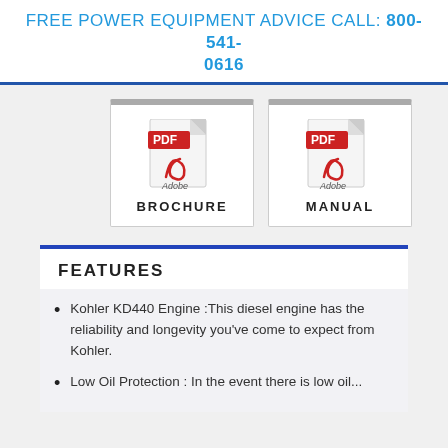FREE POWER EQUIPMENT ADVICE CALL: 800-541-0616
[Figure (other): PDF Adobe icon for BROCHURE document link]
[Figure (other): PDF Adobe icon for MANUAL document link]
FEATURES
Kohler KD440 Engine :This diesel engine has the reliability and longevity you've come to expect from Kohler.
Low Oil Protection : In the event there is low oil...